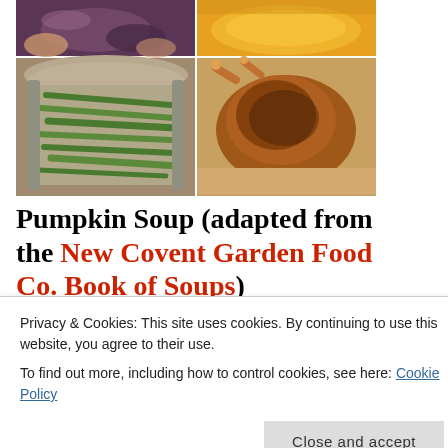[Figure (photo): A 2x2 collage of food photos: top-left shows hands with food, top-right shows orange pumpkin soup, bottom-left shows green beans in a pot, bottom-right shows roasted chicken.]
Pumpkin Soup (adapted from the New Covent Garden Food Co. Book of Soups)
Privacy & Cookies: This site uses cookies. By continuing to use this website, you agree to their use.
To find out more, including how to control cookies, see here: Cookie Policy
chopped